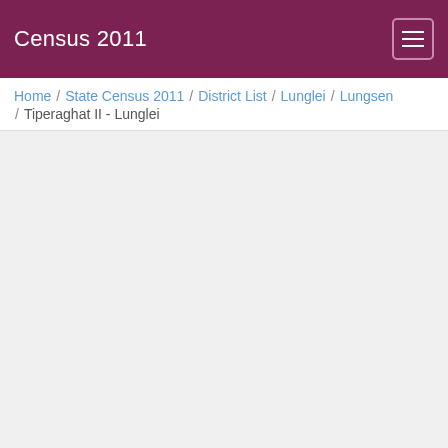Census 2011
Home / State Census 2011 / District List / Lunglei / Lungsen / Tiperaghat II - Lunglei